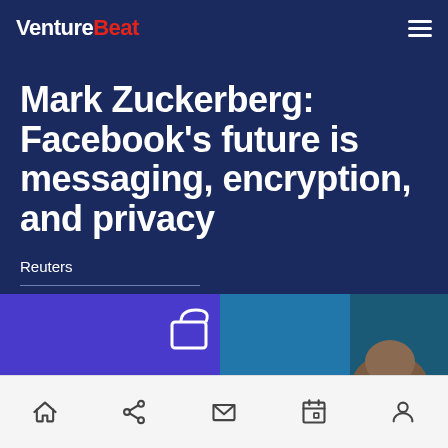VentureBeat
Mark Zuckerberg: Facebook's future is messaging, encryption, and privacy
Reuters
March 6, 2019 3:09 PM
[Figure (photo): Partial image of a person with a blue/purple background showing what appears to be a lock or technology icon]
Bottom navigation bar with home, share, mail, calendar, and profile icons